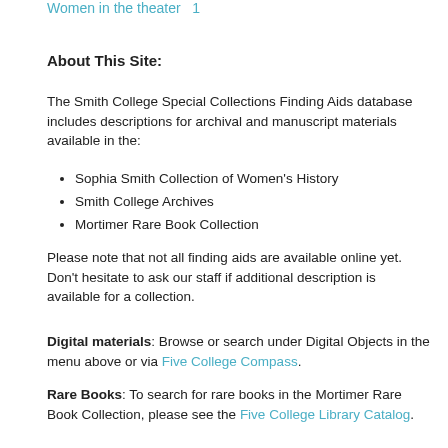Women in the theater  1
About This Site:
The Smith College Special Collections Finding Aids database includes descriptions for archival and manuscript materials available in the:
Sophia Smith Collection of Women's History
Smith College Archives
Mortimer Rare Book Collection
Please note that not all finding aids are available online yet. Don't hesitate to ask our staff if additional description is available for a collection.
Digital materials: Browse or search under Digital Objects in the menu above or via Five College Compass.
Rare Books: To search for rare books in the Mortimer Rare Book Collection, please see the Five College Library Catalog.